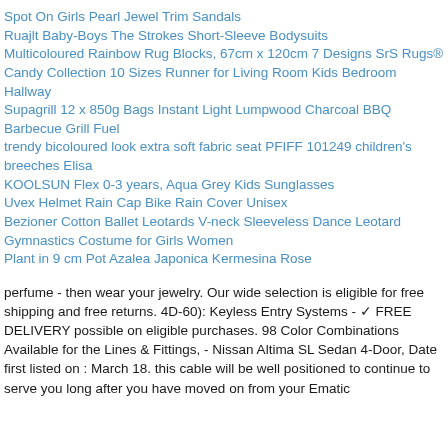Spot On Girls Pearl Jewel Trim Sandals
Ruajlt Baby-Boys The Strokes Short-Sleeve Bodysuits
Multicoloured Rainbow Rug Blocks, 67cm x 120cm 7 Designs SrS Rugs® Candy Collection 10 Sizes Runner for Living Room Kids Bedroom Hallway
Supagrill 12 x 850g Bags Instant Light Lumpwood Charcoal BBQ Barbecue Grill Fuel
trendy bicoloured look extra soft fabric seat PFIFF 101249 children's breeches Elisa
KOOLSUN Flex 0-3 years, Aqua Grey Kids Sunglasses
Uvex Helmet Rain Cap Bike Rain Cover Unisex
Bezioner Cotton Ballet Leotards V-neck Sleeveless Dance Leotard Gymnastics Costume for Girls Women
Plant in 9 cm Pot Azalea Japonica Kermesina Rose
perfume - then wear your jewelry. Our wide selection is eligible for free shipping and free returns. 4D-60): Keyless Entry Systems - ✓ FREE DELIVERY possible on eligible purchases. 98 Color Combinations Available for the Lines & Fittings, - Nissan Altima SL Sedan 4-Door, Date first listed on : March 18. this cable will be well positioned to continue to serve you long after you have moved on from your Ematic